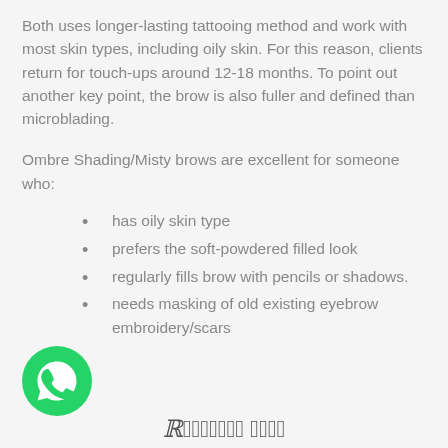Both uses longer-lasting tattooing method and work with most skin types, including oily skin. For this reason, clients return for touch-ups around 12-18 months. To point out another key point, the brow is also fuller and defined than microblading.
Ombre Shading/Misty brows are excellent for someone who:
has oily skin type
prefers the soft-powdered filled look
regularly fills brow with pencils or shadows.
needs masking of old existing eyebrow embroidery/scars
[Figure (logo): WhatsApp green circular icon with phone handset symbol]